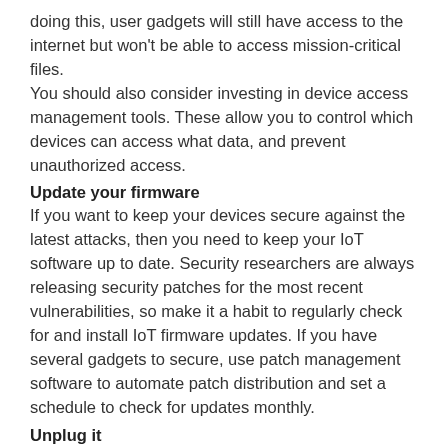doing this, user gadgets will still have access to the internet but won't be able to access mission-critical files. You should also consider investing in device access management tools. These allow you to control which devices can access what data, and prevent unauthorized access.
Update your firmware
If you want to keep your devices secure against the latest attacks, then you need to keep your IoT software up to date. Security researchers are always releasing security patches for the most recent vulnerabilities, so make it a habit to regularly check for and install IoT firmware updates. If you have several gadgets to secure, use patch management software to automate patch distribution and set a schedule to check for updates monthly.
Unplug it
Disconnecting your IoT devices from the internet (or turning them off completely) whenever you don't need them significantly reduces how vulnerable you are to an attack. Think about it, if there's nothing to target, hackers won't be able to make their move. Turning your IoT devices on and off again may not seem like the most convenient strategy, but it does deny unauthorized access to your router. Unfortunately, as IoT devices become more commonplace in homes and offices, more hackers will develop more cunning ways to exploit